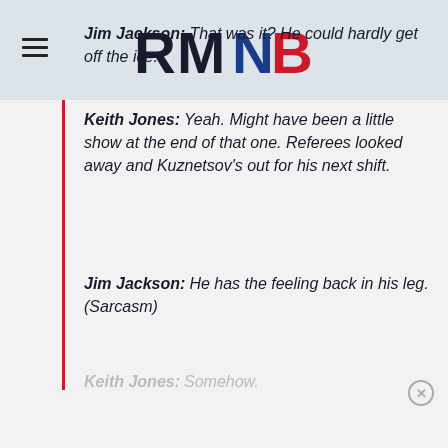RMNB
Jim Jackson: That was it? He could hardly get off the ice.
Keith Jones: Yeah. Might have been a little show at the end of that one. Referees looked away and Kuznetsov's out for his next shift.
Jim Jackson: He has the feeling back in his leg. (Sarcasm)
Keith Jones: Somehow.